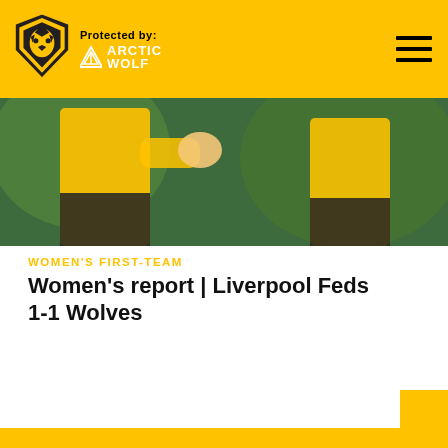Protected by: Arctic Wolf
[Figure (photo): Two Wolverhampton Wanderers women's team players in yellow jerseys, action shot outdoors]
WOMEN'S FIRST-TEAM
Women's report | Liverpool Feds 1-1 Wolves
By clicking "Accept All Cookies", you agree to the storing of cookies on your device to enhance site navigation, analyze site usage, and assist in our marketing efforts. See our privacy policy
Cookies Settings
Reject All
Accept All Cookies